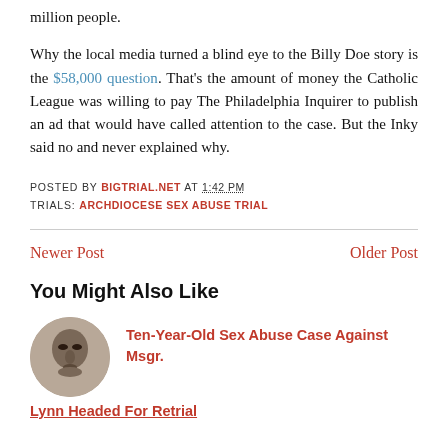million people.
Why the local media turned a blind eye to the Billy Doe story is the $58,000 question. That's the amount of money the Catholic League was willing to pay The Philadelphia Inquirer to publish an ad that would have called attention to the case. But the Inky said no and never explained why.
POSTED BY BIGTRIAL.NET AT 1:42 PM
TRIALS: ARCHDIOCESE SEX ABUSE TRIAL
Newer Post
Older Post
You Might Also Like
[Figure (photo): Circular portrait photo of a person's face]
Ten-Year-Old Sex Abuse Case Against Msgr.
Lynn Headed For Retrial